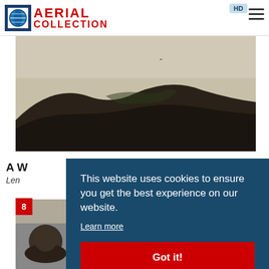AERIAL COLLECTION
[Figure (photo): Aerial photograph showing a dark volcanic or rocky landscape with pale sandy/snowy terrain in the background]
A W...
Len...
[Figure (photo): Thumbnail aerial photograph, partially visible at bottom of page]
This website uses cookies to ensure you get the best experience on our website. Learn more Got it!